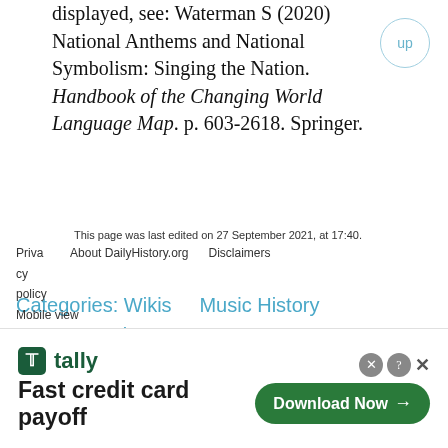displayed, see: Waterman S (2020) National Anthems and National Symbolism: Singing the Nation. Handbook of the Changing World Language Map. p. 603-2618. Springer.
Categories: Wikis  Music History  European History
This page was last edited on 27 September 2021, at 17:40.
Privacy policy  About DailyHistory.org  Disclaimers  Mobile view
[Figure (screenshot): Advertisement banner for Tally app: 'Fast credit card payoff' with Download Now button]